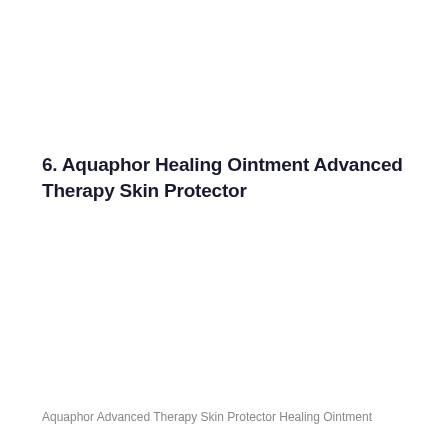6. Aquaphor Healing Ointment Advanced Therapy Skin Protector
Aquaphor Advanced Therapy Skin Protector Healing Ointment